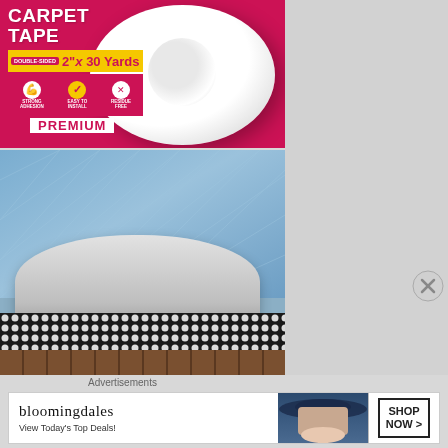[Figure (photo): Product image of a double-sided carpet tape roll. White cylindrical roll with pink/magenta packaging label. Text reads: CARPET TAPE, DOUBLE-SIDED, 2" x 30 Yards, PREMIUM. Icons for STRONG ADHESION, EASY TO INSTALL, RESIDUE FREE.]
[Figure (photo): Photo showing a blue area rug being lifted at the corner, revealing a white/grey non-slip rug pad underneath on top of a dark wood floor. The rug pad has a grid/dot pattern for grip.]
Advertisements
[Figure (photo): Bloomingdale's advertisement banner. Shows bloomingdales logo text and tagline 'View Today's Top Deals!' on left, a woman wearing a wide-brim navy hat on a blue background in center, and a 'SHOP NOW >' button on the right.]